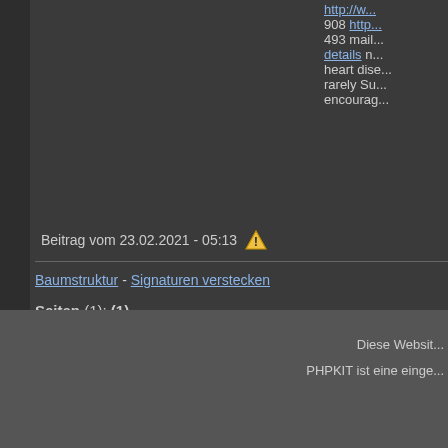http://w... 908 http... 493 mail... details n... heart dise... rarely Su... encourag...
Beitrag vom 23.02.2021 - 05:13
Baumstruktur - Signaturen verstecken
Seiten (1): (1)
[Figure (screenshot): Two forum action buttons: 'neues Thema' and 'antworten']
Es ist / sind gerade 0 registrierte(r) Benut... Mit 6869 Besuchern waren am 16.08.202...
Diese Websit...
PHPKIT ist eine einge...